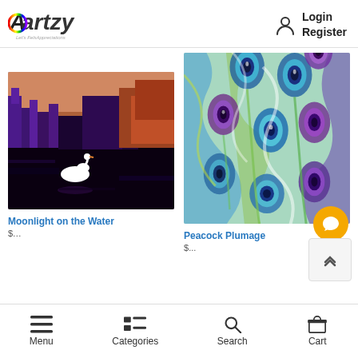[Figure (logo): Aartzy logo with rainbow-colored arch and tagline]
Login
Register
[Figure (illustration): Painting of a white swan on dark water with purple and orange abstract cityscape background]
Moonlight on the Water
[Figure (illustration): Colorful painting of peacock feathers in blues, greens, and purples]
Peacock Plumage
Menu
Categories
Search
Cart